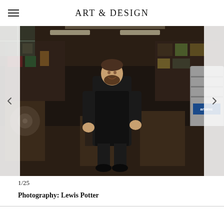ART & DESIGN
[Figure (photo): A man dressed in a black outfit and apron stands in a cluttered workshop filled with tools, machinery, and equipment. A 'Carbatec' branded dust collector is visible on the right side. The workshop has shelving units with various items.]
1/25
Photography: Lewis Potter